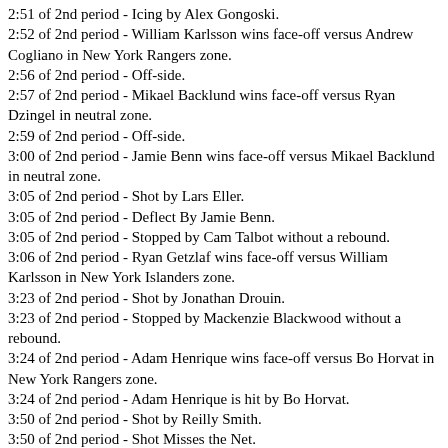2:51 of 2nd period - Icing by Alex Gongoski.
2:52 of 2nd period - William Karlsson wins face-off versus Andrew Cogliano in New York Rangers zone.
2:56 of 2nd period - Off-side.
2:57 of 2nd period - Mikael Backlund wins face-off versus Ryan Dzingel in neutral zone.
2:59 of 2nd period - Off-side.
3:00 of 2nd period - Jamie Benn wins face-off versus Mikael Backlund in neutral zone.
3:05 of 2nd period - Shot by Lars Eller.
3:05 of 2nd period - Deflect By Jamie Benn.
3:05 of 2nd period - Stopped by Cam Talbot without a rebound.
3:06 of 2nd period - Ryan Getzlaf wins face-off versus William Karlsson in New York Islanders zone.
3:23 of 2nd period - Shot by Jonathan Drouin.
3:23 of 2nd period - Stopped by Mackenzie Blackwood without a rebound.
3:24 of 2nd period - Adam Henrique wins face-off versus Bo Horvat in New York Rangers zone.
3:24 of 2nd period - Adam Henrique is hit by Bo Horvat.
3:50 of 2nd period - Shot by Reilly Smith.
3:50 of 2nd period - Shot Misses the Net.
3:52 of 2nd period - Shot by Damon Severson.
3:52 of 2nd period - Stopped by Cam Talbot without a rebound.
3:53 of 2nd period - Lars Eller wins face-off versus Mikael Backlund in New York Islanders zone.